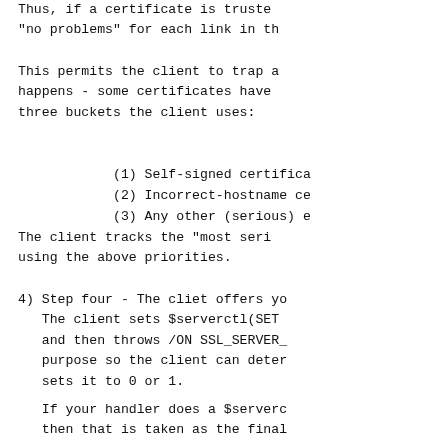Thus, if a certificate is trusted, "no problems" for each link in th
This permits the client to trap a happens - some certificates have three buckets the client uses:
(1) Self-signed certifica
(2) Incorrect-hostname ce
(3) Any other (serious) e
The client tracks the "most seri using the above priorities.
4) Step four - The cliet offers y The client sets $serverctl(SET and then throws /ON SSL_SERVER_ purpose so the client can deter sets it to 0 or 1.
If your handler does a $serverc then that is taken as the final